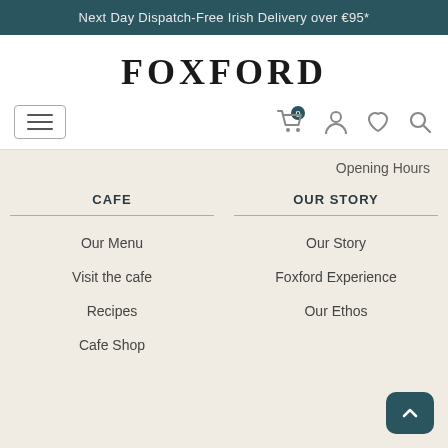Next Day Dispatch-Free Irish Delivery over €95*
FOXFORD
[Figure (screenshot): Navigation bar with hamburger menu on the left and cart (0), user, heart, and search icons on the right]
Opening Hours
CAFE
Our Menu
Visit the cafe
Recipes
Cafe Shop
OUR STORY
Our Story
Foxford Experience
Our Ethos